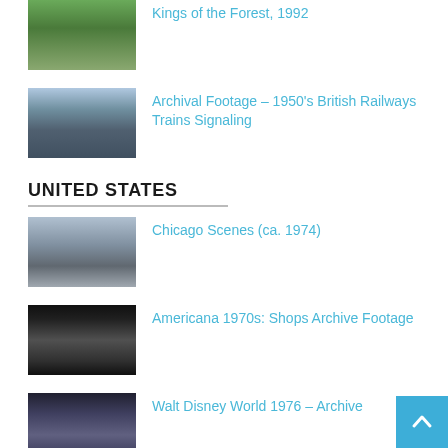[Figure (photo): Thumbnail of forest/trees scene]
Kings of the Forest, 1992
[Figure (photo): Thumbnail of 1950s British Railways train at station platform]
Archival Footage – 1950's British Railways Trains Signaling
UNITED STATES
[Figure (photo): Thumbnail of Chicago street scene circa 1974]
Chicago Scenes (ca. 1974)
[Figure (photo): Thumbnail of 1970s American shops/street scene]
Americana 1970s: Shops Archive Footage
[Figure (photo): Thumbnail of Walt Disney World 1976]
Walt Disney World 1976 – Archive